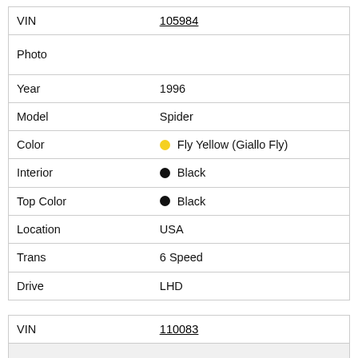| Field | Value |
| --- | --- |
| VIN | 105984 |
| Photo |  |
| Year | 1996 |
| Model | Spider |
| Color | Fly Yellow (Giallo Fly) |
| Interior | Black |
| Top Color | Black |
| Location | USA |
| Trans | 6 Speed |
| Drive | LHD |
| Field | Value |
| --- | --- |
| VIN | 110083 |
| Photo |  |